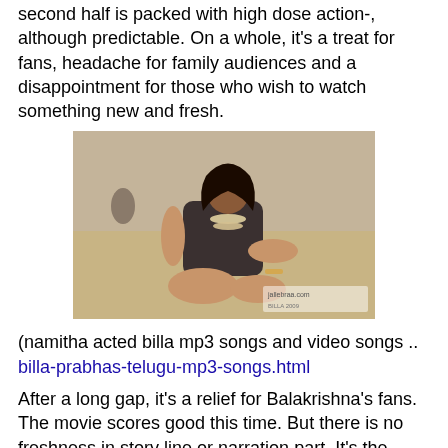second half is packed with high dose action-, although predictable. On a whole, it's a treat for fans, headache for family audiences and a disappointment for those who wish to watch something new and fresh.
[Figure (photo): A woman in a dark swimsuit with beaded necklaces, sitting on a sandy beach. Watermark visible in bottom right corner.]
(namitha acted billa mp3 songs and video songs .. billa-prabhas-telugu-mp3-songs.html
After a long gap, it's a relief for Balakrishna's fans. The movie scores good this time. But there is no freshness in story line or narration part. It's the same old cutting heads with axe and there is some change in the design of weapon. The climax sequence is lifted from Magadheera with the fight scene in the same old place where the protagonist's father